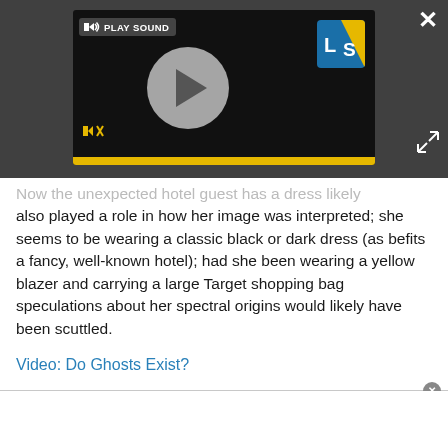[Figure (screenshot): A video player UI overlay with a circular play button, speaker/mute icon, play sound label, LS logo (blue/yellow), yellow progress bar, close X button, and expand icon, on a dark background.]
...also played a role in how her image was interpreted; she seems to be wearing a classic black or dark dress (as befits a fancy, well-known hotel); had she been wearing a yellow blazer and carrying a large Target shopping bag speculations about her spectral origins would likely have been scuttled.
Video: Do Ghosts Exist?